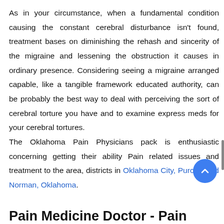As in your circumstance, when a fundamental condition causing the constant cerebral disturbance isn't found, treatment bases on diminishing the rehash and sincerity of the migraine and lessening the obstruction it causes in ordinary presence. Considering seeing a migraine arranged capable, like a tangible framework educated authority, can be probably the best way to deal with perceiving the sort of cerebral torture you have and to examine express meds for your cerebral tortures. The Oklahoma Pain Physicians pack is enthusiastic concerning getting their ability Pain related issues and treatment to the area, districts in Oklahoma City, Purcell, and Norman, Oklahoma.
Pain Medicine Doctor - Pain